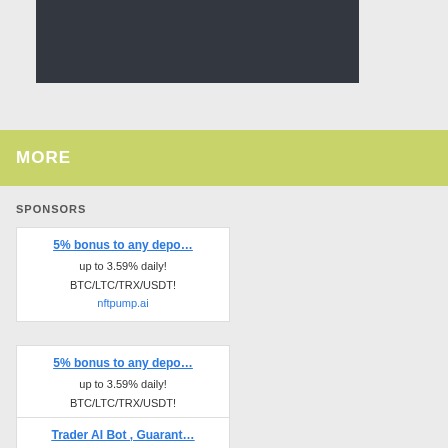[Figure (other): Dark banner image placeholder at top of page]
MORE
SPONSORS
5% bonus to any depo...
up to 3.59% daily!
BTC/LTC/TRX/USDT!
nftpump.ai
5% bonus to any depo...
up to 3.59% daily!
BTC/LTC/TRX/USDT!
nftpump.ai
Trader AI Bot , Guarant...
Success Trades...